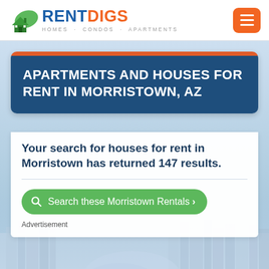RENTDIGS HOMES · CONDOS · APARTMENTS
APARTMENTS AND HOUSES FOR RENT IN MORRISTOWN, AZ
Your search for houses for rent in Morristown has returned 147 results.
Search these Morristown Rentals ›
Advertisement